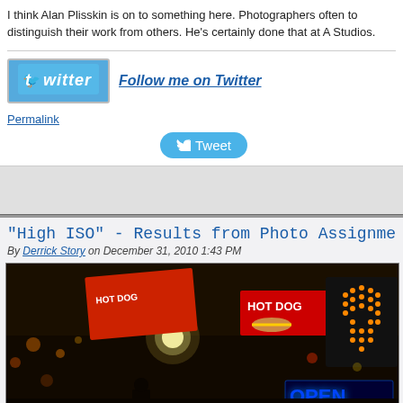I think Alan Plisskin is on to something here. Photographers often to distinguish their work from others. He's certainly done that at A Studios.
[Figure (logo): Twitter logo badge in blue]
Follow me on Twitter
Permalink
Tweet
"High ISO" - Results from Photo Assignme
By Derrick Story on December 31, 2010 1:43 PM
[Figure (photo): Night street scene with hot dog stand signs, neon hand stop signal, and OPEN neon sign. Dark urban setting with bokeh lights.]